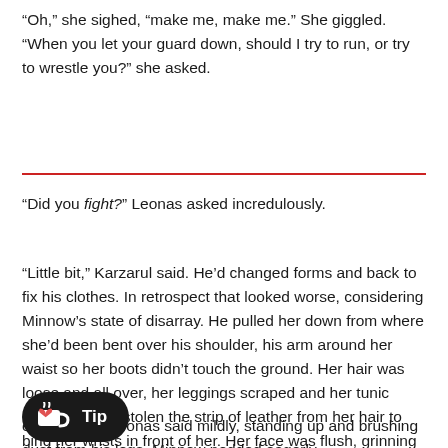“Oh,” she sighed, “make me, make me.” She giggled. “When you let your guard down, should I try to run, or try to wrestle you?” she asked.
“Did you fight?” Leonas asked incredulously.
“Little bit,” Karzarul said. He’d changed forms and back to fix his clothes. In retrospect that looked worse, considering Minnow’s state of disarray. He pulled her down from where she’d been bent over his shoulder, his arm around her waist so her boots didn’t touch the ground. Her hair was loose and all over, her leggings scraped and her tunic rumpled. He’d stolen the strip of leather from her hair to bind her wrists in front of her. Her face was flush, grinning broadly and barely restraining her delight.
ou had fun,” Leonas said mildly, standing up and brushing dust from his legs. Minnow nodded eagerly.
[Figure (other): Ko-fi Tip button with heart icon]